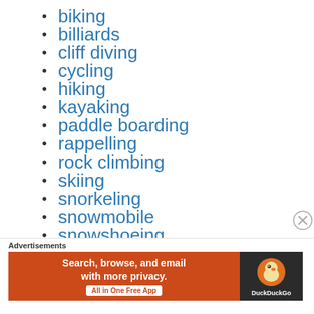biking
billiards
cliff diving
cycling
hiking
kayaking
paddle boarding
rappelling
rock climbing
skiing
snorkeling
snowmobile
snowshoeing
Advertisements
[Figure (other): DuckDuckGo advertisement banner: Search, browse, and email with more privacy. All in One Free App. Shows DuckDuckGo duck logo on dark background.]